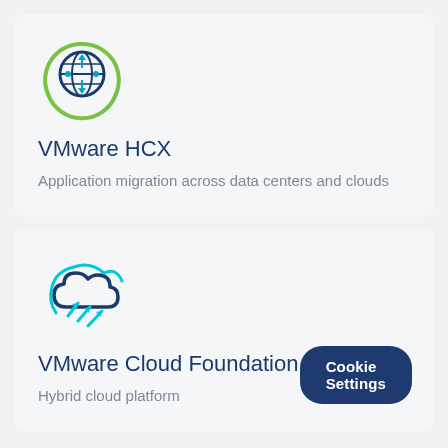[Figure (logo): VMware HCX icon: circular icon with globe/network and up/down arrows in blue and green tones]
VMware HCX
Application migration across data centers and clouds
[Figure (logo): VMware Cloud Foundation icon: cloud with upward arrows in cyan/teal and dark blue]
VMware Cloud Foundation
Hybrid cloud platform
Cookie Settings